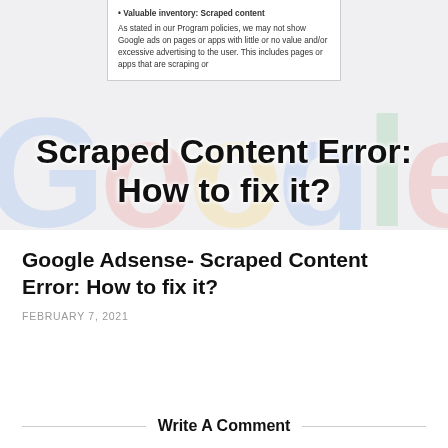[Figure (screenshot): Featured image showing a Google Adsense policy notice about 'Valuable inventory: Scraped content' overlaid on a blurred Google logo background, with bold text overlay reading 'Scraped Content Error: How to fix it?']
Google Adsense- Scraped Content Error: How to fix it?
FEBRUARY 7, 2021
Write A Comment